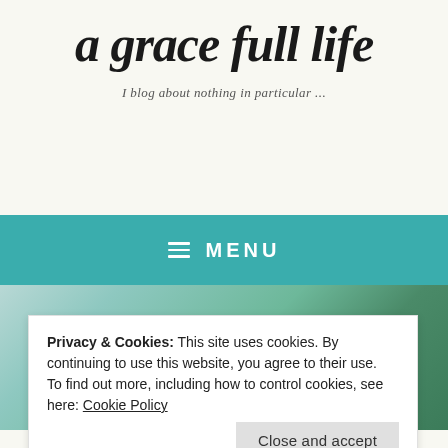a grace full life
I blog about nothing in particular ...
≡ MENU
[Figure (photo): Partial photo of a person outdoors with green background]
Privacy & Cookies: This site uses cookies. By continuing to use this website, you agree to their use.
To find out more, including how to control cookies, see here: Cookie Policy
Close and accept